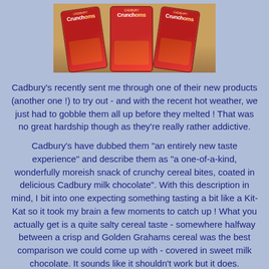[Figure (photo): Three red bags of Cadbury Crunchoms chocolate snacks arranged on a wooden surface]
Cadbury's recently sent me through one of their new products (another one !) to try out - and with the recent hot weather, we just had to gobble them all up before they melted ! That was no great hardship though as they're really rather addictive.
Cadbury's have dubbed them "an entirely new taste experience" and describe them as "a one-of-a-kind, wonderfully moreish snack of crunchy cereal bites, coated in delicious Cadbury milk chocolate". With this description in mind, I bit into one expecting something tasting a bit like a Kit-Kat so it took my brain a few moments to catch up ! What you actually get is a quite salty cereal taste - somewhere halfway between a crisp and Golden Grahams cereal was the best comparison we could come up with - covered in sweet milk chocolate. It sounds like it shouldn't work but it does. (Remember my chocolate chip and bacon cookies ?